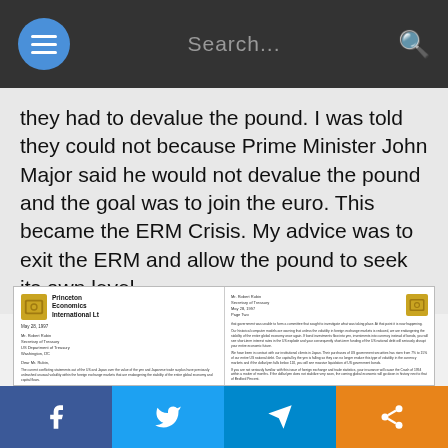Search...
they had to devalue the pound. I was told they could not because Prime Minister John Major said he would not devalue the pound and the goal was to join the euro. This became the ERM Crisis. My advice was to exit the ERM and allow the pound to seek its own level.
[Figure (photo): Scanned letter from Princeton Economics International Ltd dated May 28, 1997 addressed to Mr. Robert Rubin, Secretary of Treasury, US Department of Treasury, Washington DC — two pages shown side by side. Left page contains letter body text discussing US-Japan trade and currency issues. Right page continues the letter with a signature from Chairman of the Board, Princeton Economics International.]
Facebook | Twitter | Telegram | Share